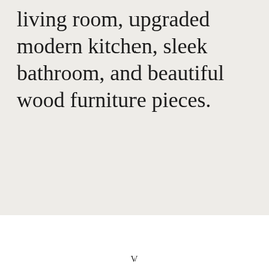living room, upgraded modern kitchen, sleek bathroom, and beautiful wood furniture pieces.
V